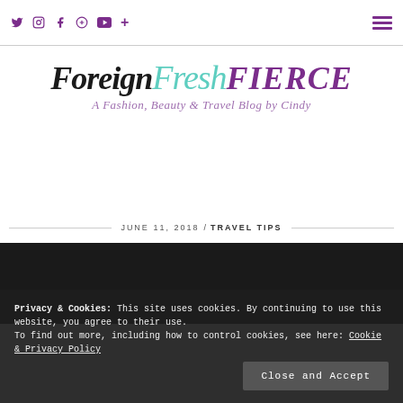Social icons: Twitter, Instagram, Facebook, Pinterest, YouTube, Plus | Hamburger menu
[Figure (logo): ForeignFreshFIERCE blog logo — 'Foreign' in bold italic black serif, 'Fresh' in teal italic script, 'FIERCE' in purple italic serif uppercase; subtitle: 'A Fashion, Beauty & Travel Blog by Cindy' in purple italic]
JUNE 11, 2018 / TRAVEL TIPS
Privacy & Cookies: This site uses cookies. By continuing to use this website, you agree to their use.
To find out more, including how to control cookies, see here: Cookie & Privacy Policy
Close and Accept